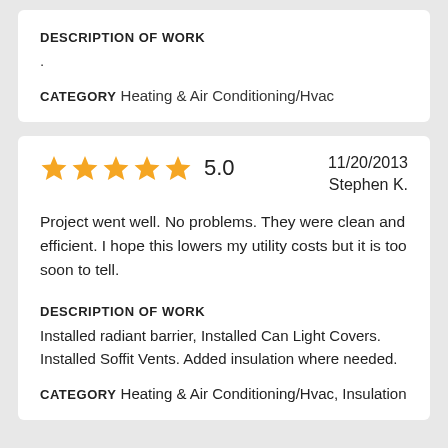DESCRIPTION OF WORK
.
CATEGORY Heating & Air Conditioning/Hvac
[Figure (other): Five filled orange/gold star rating icons]
5.0
11/20/2013
Stephen K.
Project went well. No problems. They were clean and efficient. I hope this lowers my utility costs but it is too soon to tell.
DESCRIPTION OF WORK
Installed radiant barrier, Installed Can Light Covers. Installed Soffit Vents. Added insulation where needed.
CATEGORY Heating & Air Conditioning/Hvac, Insulation